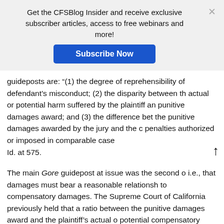Get the CFSBlog Insider and receive exclusive subscriber articles, access to free webinars and more!
Subscribe Now
guideposts are: “(1) the degree of reprehensibility of defendant’s misconduct; (2) the disparity between the actual or potential harm suffered by the plaintiff and punitive damages award; and (3) the difference between the punitive damages awarded by the jury and the civil penalties authorized or imposed in comparable cases. Id. at 575.
The main Gore guidepost at issue was the second one, i.e., that damages must bear a reasonable relationship to compensatory damages. The Supreme Court of California previously held that a ratio between the punitive damages award and the plaintiff’s actual or potential compensatory damages significantly grea